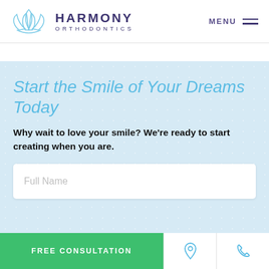[Figure (logo): Harmony Orthodontics logo with lotus flower icon in light blue outline and text 'HARMONY ORTHODONTICS' in dark purple]
MENU
Start the Smile of Your Dreams Today
Why wait to love your smile? We're ready to start creating when you are.
Full Name
FREE CONSULTATION